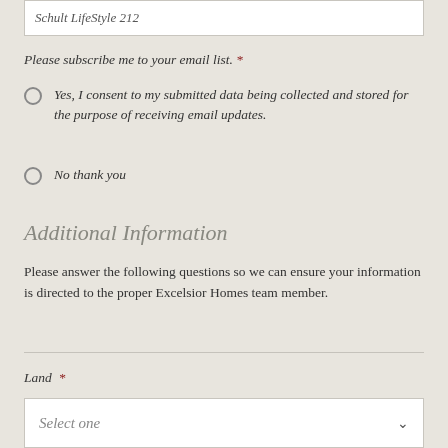Schult LifeStyle 212
Please subscribe me to your email list. *
Yes, I consent to my submitted data being collected and stored for the purpose of receiving email updates.
No thank you
Additional Information
Please answer the following questions so we can ensure your information is directed to the proper Excelsior Homes team member.
Land *
Select one